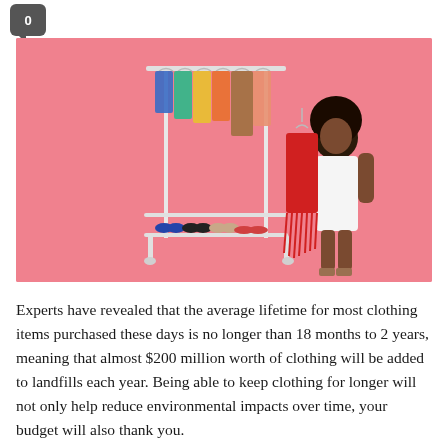[Figure (photo): A woman in a white dress holding a red fringe dress next to a clothing rack with colorful garments and shoes on the bottom rack, against a pink background.]
Experts have revealed that the average lifetime for most clothing items purchased these days is no longer than 18 months to 2 years, meaning that almost $200 million worth of clothing will be added to landfills each year. Being able to keep clothing for longer will not only help reduce environmental impacts over time, your budget will also thank you.